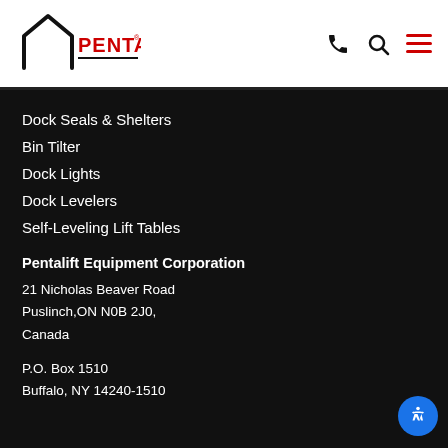[Figure (logo): Pentalift logo with house-shaped outline and red text]
Dock Seals & Shelters
Bin Tilter
Dock Lights
Dock Levelers
Self-Leveling Lift Tables
Pentalift Equipment Corporation
21 Nicholas Beaver Road
Puslinch,ON N0B 2J0,
Canada
P.O. Box 1510
Buffalo, NY 14240-1510